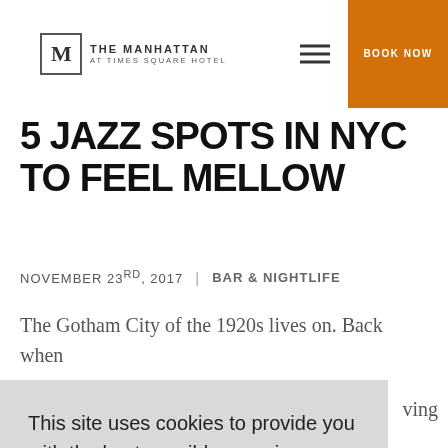The Manhattan at Times Square Hotel | BOOK NOW
5 JAZZ SPOTS IN NYC TO FEEL MELLOW
NOVEMBER 23RD, 2017 | BAR & NIGHTLIFE
The Gotham City of the 1920s lives on. Back when
This site uses cookies to provide you with the best possible experience. You may choose to enable or disable cookies in your browser's policy settings.
X